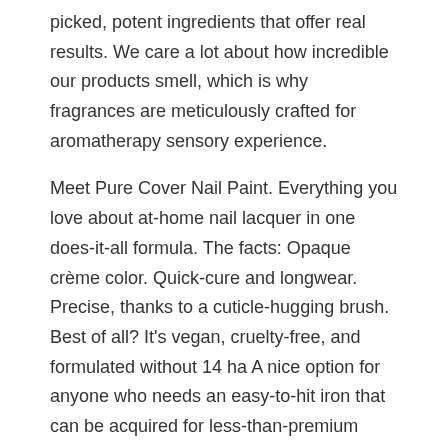picked, potent ingredients that offer real results. We care a lot about how incredible our products smell, which is why fragrances are meticulously crafted for aromatherapy sensory experience.
Meet Pure Cover Nail Paint. Everything you love about at-home nail lacquer in one does-it-all formula. The facts: Opaque crème color. Quick-cure and longwear. Precise, thanks to a cuticle-hugging brush. Best of all? It's vegan, cruelty-free, and formulated without 14 ha A nice option for anyone who needs an easy-to-hit iron that can be acquired for less-than-premium pricing. FITTER COMMENTS “Good ball speed and distance numbers pair …
GSMArena.com: Nokia 7070 Prism user opinions and reviews Buy low price, high quality energy bracelet titanium with worldwide shipping on AliExpress.com